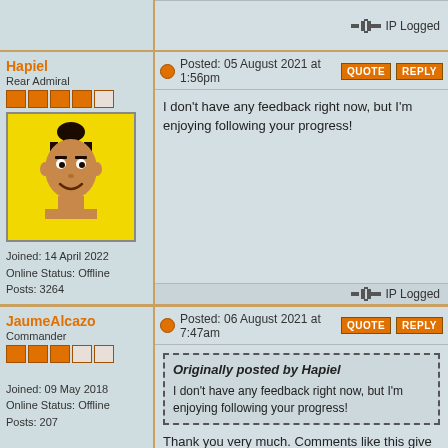IP Logged
Hapiel
Rear Admiral
Joined: 14 April 2022
Online Status: Offline
Posts: 3264
Posted: 05 August 2021 at 1:56pm
I don't have any feedback right now, but I'm enjoying following your progress!
IP Logged
JaumeAlcazo
Commander
Joined: 09 May 2018
Online Status: Offline
Posts: 207
Posted: 06 August 2021 at 7:47am
Originally posted by Hapiel

I don't have any feedback right now, but I'm enjoying following your progress!
Thank you very much. Comments like this give me strength to carry on!